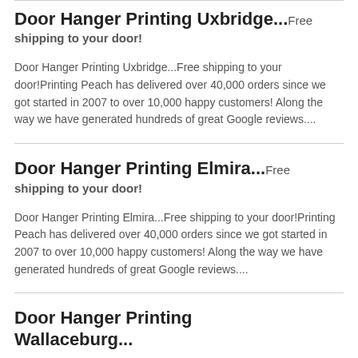Door Hanger Printing Uxbridge...Free shipping to your door!
Door Hanger Printing Uxbridge...Free shipping to your door!Printing Peach has delivered over 40,000 orders since we got started in 2007 to over 10,000 happy customers! Along the way we have generated hundreds of great Google reviews....
Door Hanger Printing Elmira...Free shipping to your door!
Door Hanger Printing Elmira...Free shipping to your door!Printing Peach has delivered over 40,000 orders since we got started in 2007 to over 10,000 happy customers! Along the way we have generated hundreds of great Google reviews....
Door Hanger Printing Wallaceburg...